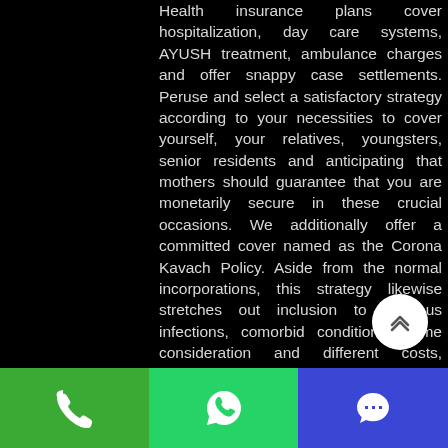Health insurance plans cover hospitalization, day care systems, AYUSH treatment, ambulance charges and offer snappy case settlements. Peruse and select a satisfactory strategy according to your necessities to cover yourself, your relatives, youngsters, senior residents and anticipating that mothers should guarantee that you are monetarily secure in these crucial occasions. We additionally offer a committed cover named as the Corona Kavach Policy. Aside from the normal incorporations, this strategy likewise stretches out inclusion to previous infections, comorbid conditions, home consideration and different costs, according to the terms and states of the arrangement, that fall under treatment for